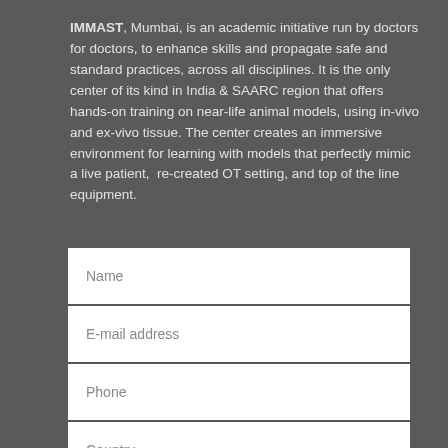IMMAST, Mumbai, is an academic initiative run by doctors for doctors, to enhance skills and propagate safe and standard practices, across all disciplines. It is the only center of its kind in India & SAARC region that offers hands-on training on near-life animal models, using in-vivo and ex-vivo tissue. The center creates an immersive environment for learning with models that perfectly mimic a live patient, re-created OT setting, and top of the line equipment.
[Figure (screenshot): Web form with fields: Name, E-mail address, Phone, Country, Choose Your Speciality, Specify Your Query. Orange sidebar tab labeled Enquire about a Course.]